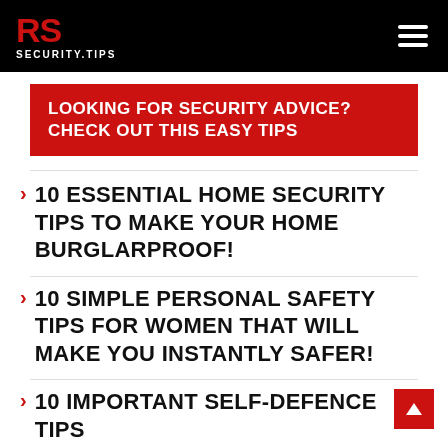RS SECURITY.TIPS
LOOKING FOR SECURITY ADVICE? CHECK OUT THIS EASY TIPS
10 ESSENTIAL HOME SECURITY TIPS TO MAKE YOUR HOME BURGLARPROOF!
10 SIMPLE PERSONAL SAFETY TIPS FOR WOMEN THAT WILL MAKE YOU INSTANTLY SAFER!
10 IMPORTANT SELF-DEFENCE TIPS